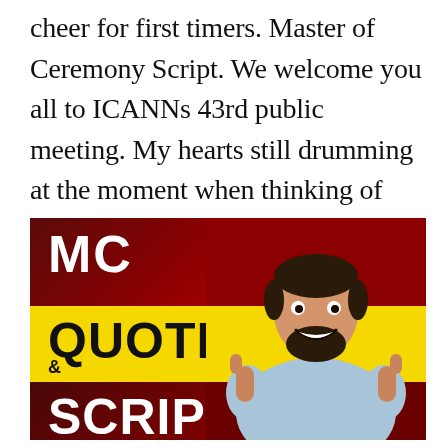cheer for first timers. Master of Ceremony Script. We welcome you all to ICANNs 43rd public meeting. My hearts still drumming at the moment when thinking of day I acted as a MC for my companys seminar.
[Figure (illustration): Promotional banner for 'MC Quotes & Scripts' featuring bold white text 'MC' on dark red/maroon background (top), bold black text 'QUOTES' on yellow background (middle), bold white text 'SCRIPTS' on dark maroon background (bottom), with a smiling man giving two thumbs up overlaid on the right side, and a sparkle/flash graphic in the top right corner.]